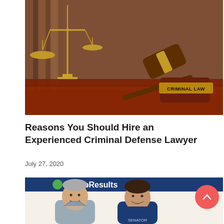[Figure (photo): Photo of a judge's gavel on a wooden surface with a brass plate reading 'CRIMINAL LAW' and scales of justice in the background, with law books on shelves]
Reasons You Should Hire an Experienced Criminal Defense Lawyer
July 27, 2020
[Figure (photo): Photo of two men smiling in front of a sign reading 'eWebResults'. The man on the left has gray hair and beard wearing a gray jacket; the man on the right has dark hair wearing a navy blue 'SENATOR' shirt.]